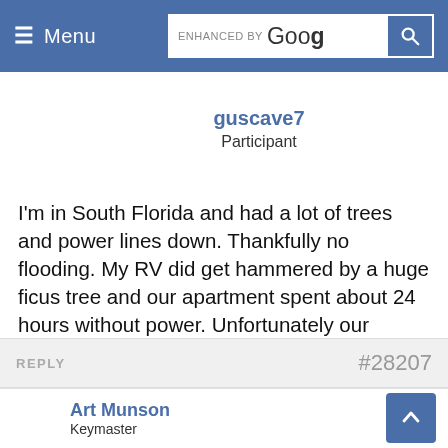≡ Menu   ENHANCED BY Goog 🔍
guscave7
Participant
I'm in South Florida and had a lot of trees and power lines down. Thankfully no flooding. My RV did get hammered by a huge ficus tree and our apartment spent about 24 hours without power. Unfortunately our families down in Key West didn't fair too well. It's a total mess down there, but thank God they decided at the last minute to drive north.
REPLY   #28207
Art Munson
Keymaster